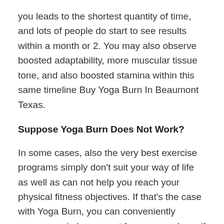you leads to the shortest quantity of time, and lots of people do start to see results within a month or 2. You may also observe boosted adaptability, more muscular tissue tone, and also boosted stamina within this same timeline Buy Yoga Burn In Beaumont Texas.
Suppose Yoga Burn Does Not Work?
In some cases, also the very best exercise programs simply don't suit your way of life as well as can not help you reach your physical fitness objectives. If that's the case with Yoga Burn, you can conveniently access a reimbursement for your purchase if you contact the customer care line via email or by calling their toll-free number within